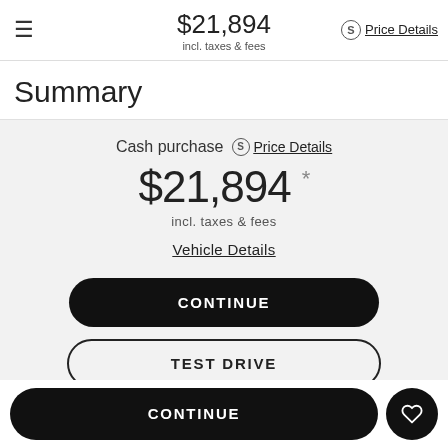$21,894 incl. taxes & fees  Price Details
Summary
Cash purchase  Price Details
$21,894 *
incl. taxes & fees
Vehicle Details
CONTINUE
TEST DRIVE
CONTINUE